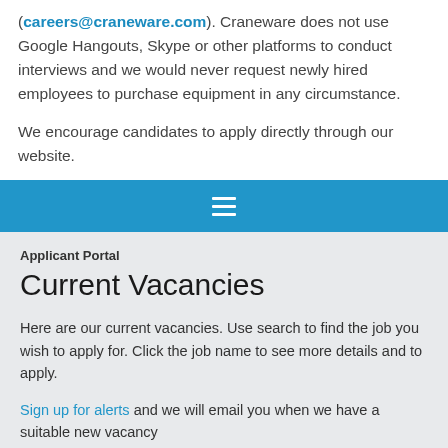(careers@craneware.com). Craneware does not use Google Hangouts, Skype or other platforms to conduct interviews and we would never request newly hired employees to purchase equipment in any circumstance.
We encourage candidates to apply directly through our website.
[Figure (screenshot): Blue navigation bar with white hamburger menu icon (three horizontal lines)]
Applicant Portal
Current Vacancies
Here are our current vacancies. Use search to find the job you wish to apply for. Click the job name to see more details and to apply.
Sign up for alerts and we will email you when we have a suitable new vacancy